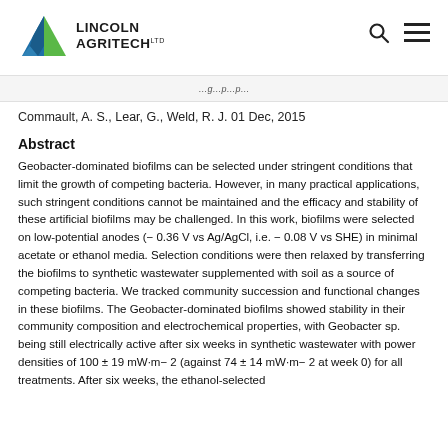[Figure (logo): Lincoln Agritech Ltd logo with blue-green mountain triangle icon and bold text]
Lincoln Agritech Ltd
Commault, A. S., Lear, G., Weld, R. J. 01 Dec, 2015
Abstract
Geobacter-dominated biofilms can be selected under stringent conditions that limit the growth of competing bacteria. However, in many practical applications, such stringent conditions cannot be maintained and the efficacy and stability of these artificial biofilms may be challenged. In this work, biofilms were selected on low-potential anodes (− 0.36 V vs Ag/AgCl, i.e. − 0.08 V vs SHE) in minimal acetate or ethanol media. Selection conditions were then relaxed by transferring the biofilms to synthetic wastewater supplemented with soil as a source of competing bacteria. We tracked community succession and functional changes in these biofilms. The Geobacter-dominated biofilms showed stability in their community composition and electrochemical properties, with Geobacter sp. being still electrically active after six weeks in synthetic wastewater with power densities of 100 ± 19 mW·m− 2 (against 74 ± 14 mW·m− 2 at week 0) for all treatments. After six weeks, the ethanol-selected